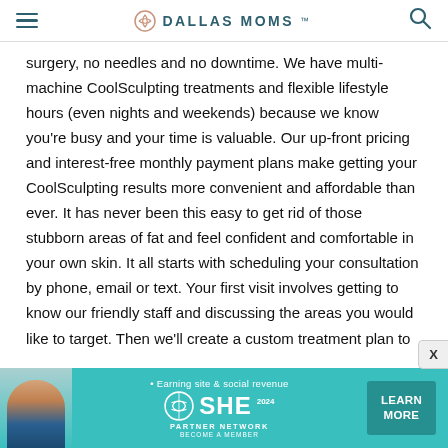DALLAS MOMS
surgery, no needles and no downtime. We have multi-machine CoolSculpting treatments and flexible lifestyle hours (even nights and weekends) because we know you're busy and your time is valuable. Our up-front pricing and interest-free monthly payment plans make getting your CoolSculpting results more convenient and affordable than ever. It has never been this easy to get rid of those stubborn areas of fat and feel confident and comfortable in your own skin. It all starts with scheduling your consultation by phone, email or text. Your first visit involves getting to know our friendly staff and discussing the areas you would like to target. Then we'll create a custom treatment plan to help you meet your goals. On
[Figure (infographic): Advertisement banner for SHE Media Partner Network: Earning site & social revenue. Shows a woman photo on the left, SHE logo in the center, and a teal LEARN MORE button on the right.]